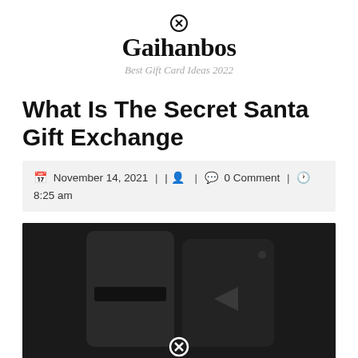Gaihanbos
Best Gift Card Ideas 2022
What Is The Secret Santa Gift Exchange
November 14, 2021 | | 0 Comment | 8:25 am
[Figure (photo): Close-up photo of a dark black card reader device against a dark background, with a circular icon overlay at the bottom center]